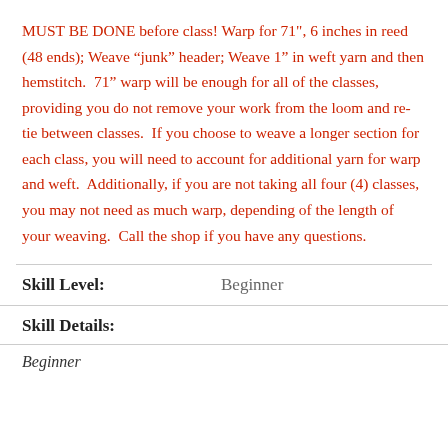MUST BE DONE before class! Warp for 71", 6 inches in reed (48 ends); Weave “junk” header; Weave 1” in weft yarn and then hemstitch.  71” warp will be enough for all of the classes, providing you do not remove your work from the loom and re-tie between classes.  If you choose to weave a longer section for each class, you will need to account for additional yarn for warp and weft.  Additionally, if you are not taking all four (4) classes, you may not need as much warp, depending of the length of your weaving.  Call the shop if you have any questions.
| Field | Value |
| --- | --- |
| Skill Level: | Beginner |
| Skill Details: |  |